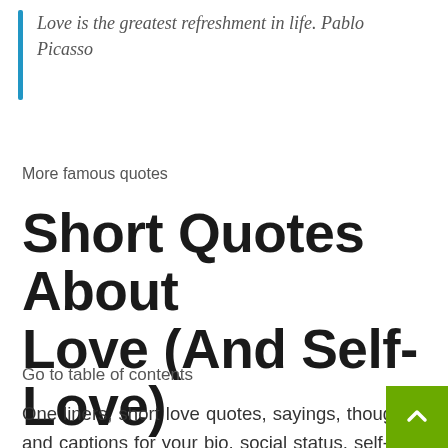Love is the greatest refreshment in life. Pablo Picasso
More famous quotes
Short Quotes About Love (And Self-Love)
Go to table of contents
One liners, short love quotes, sayings, thoughts and captions for your bio, social status, self-talk, motto, mantra, signs, posters, wallpapers, backgrounds, tattoos, SMS, Facebook, WhatsApp, Snapchat, Tumblr, Twitter, Pinterest, Instagram,